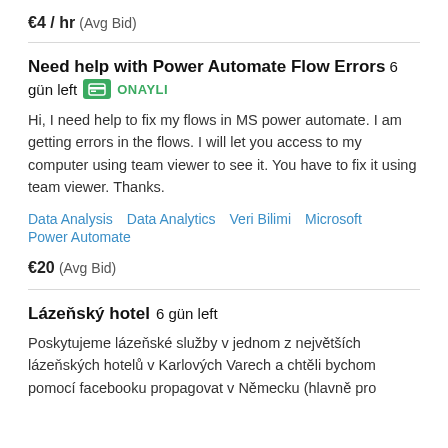€4 / hr  (Avg Bid)
Need help with Power Automate Flow Errors  6 gün left  ONAYLI
Hi, I need help to fix my flows in MS power automate. I am getting errors in the flows. I will let you access to my computer using team viewer to see it. You have to fix it using team viewer. Thanks.
Data Analysis   Data Analytics   Veri Bilimi   Microsoft Power Automate
€20  (Avg Bid)
Lázeňský hotel  6 gün left
Poskytujeme lázeňské služby v jednom z největších lázeňských hotelů v Karlových Varech a chtěli bychom pomocí facebooku propagovat v Německu (hlavně pro